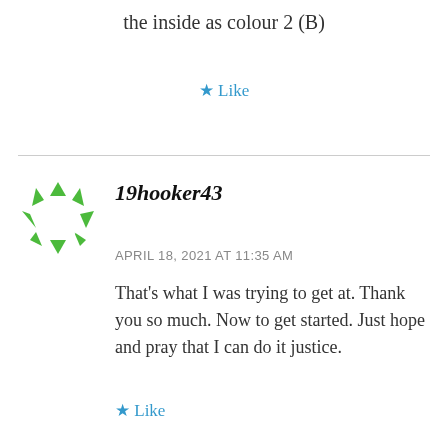the inside as colour 2 (B)
★ Like
19hooker43
APRIL 18, 2021 AT 11:35 AM
That's what I was trying to get at. Thank you so much. Now to get started. Just hope and pray that I can do it justice.
★ Like